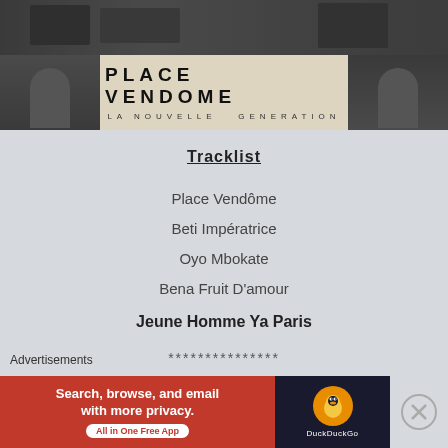[Figure (photo): Album cover image for Place Vendome - La Nouvelle Generation showing performers in two rows: top row with dark silhouettes of people in urban setting, bottom row with album title in center flanked by performers with microphones]
Tracklist
Place Vendôme
Beti Impératrice
Oyo Mbokate
Bena Fruit D'amour
Jeune Homme Ya Paris
***************
1990 – Ekumani
Advertisements
[Figure (screenshot): DuckDuckGo advertisement banner: orange left section with white text 'Search, browse, and email with more privacy. All in One Free App' and dark right section with DuckDuckGo duck logo]